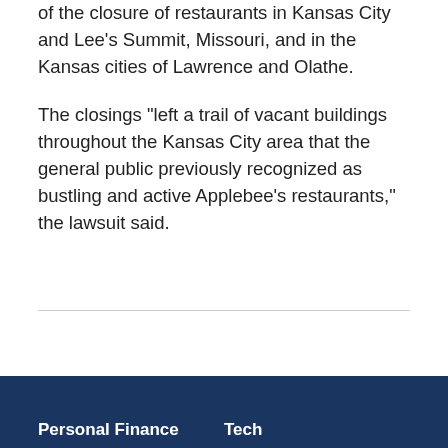of the closure of restaurants in Kansas City and Lee's Summit, Missouri, and in the Kansas cities of Lawrence and Olathe.
The closings "left a trail of vacant buildings throughout the Kansas City area that the general public previously recognized as bustling and active Applebee's restaurants," the lawsuit said.
Personal Finance   Tech